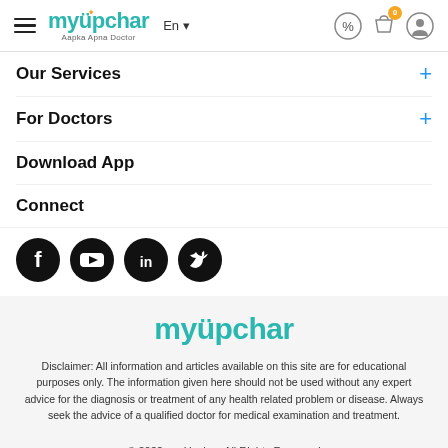myUpchar — Aapka Apna Doctor | En | navigation header
Our Services
For Doctors
Download App
Connect
[Figure (logo): Social media icons: Facebook, YouTube, LinkedIn, Twitter]
[Figure (logo): myUpchar logo in teal color — large footer version]
Disclaimer: All information and articles available on this site are for educational purposes only. The information given here should not be used without any expert advice for the diagnosis or treatment of any health related problem or disease. Always seek the advice of a qualified doctor for medical examination and treatment.
© 2022, myUpchar. All Rights Reserved